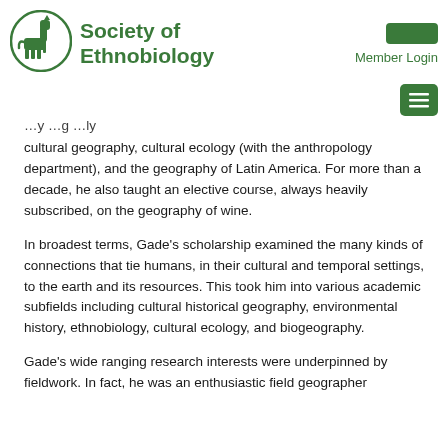[Figure (logo): Society of Ethnobiology logo: green circle with a horse/llama figure inside]
Society of Ethnobiology
Member Login
cultural geography, cultural ecology (with the anthropology department), and the geography of Latin America. For more than a decade, he also taught an elective course, always heavily subscribed, on the geography of wine.
In broadest terms, Gade's scholarship examined the many kinds of connections that tie humans, in their cultural and temporal settings, to the earth and its resources. This took him into various academic subfields including cultural historical geography, environmental history, ethnobiology, cultural ecology, and biogeography.
Gade's wide ranging research interests were underpinned by fieldwork. In fact, he was an enthusiastic field geographer energized